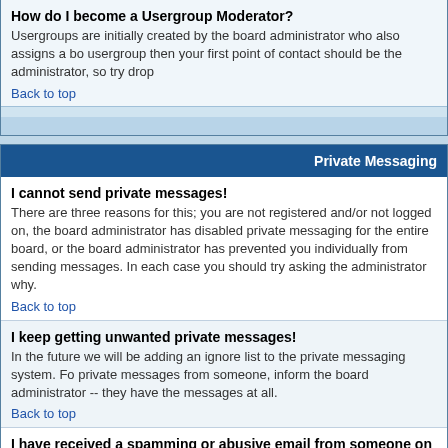How do I become a Usergroup Moderator?
Usergroups are initially created by the board administrator who also assigns a board moderator. If you are interested in creating a usergroup then your first point of contact should be the administrator, so try dropping them a private message.
Back to top
Private Messaging
I cannot send private messages!
There are three reasons for this; you are not registered and/or not logged on, the board administrator has disabled private messaging for the entire board, or the board administrator has prevented you individually from sending messages. In each case you should try asking the administrator why.
Back to top
I keep getting unwanted private messages!
In the future we will be adding an ignore list to the private messaging system. For now, however, if you keep receiving unwanted private messages from someone, inform the board administrator -- they have the power to prevent a user from sending private messages at all.
Back to top
I have received a spamming or abusive email from someone on this board!
We are sorry to hear that. The email form feature of this board includes safeguards to try to track users who send such posts. You should email the board administrator with a full copy of the email you received and it is very important this include the headers (these list details of the user that sent the email). They can then take action.
Back to top